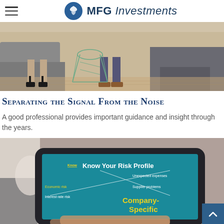MFG Investments
[Figure (photo): Two people sitting on sofas in a meeting, legs and feet visible, with a geometric wire side table in the center on a wooden floor]
Separating the Signal From the Noise
A good professional provides important guidance and insight through the years.
[Figure (photo): A hand holding a tablet showing a teal-colored slide titled 'Know Your Risk Profile' with a risk matrix diagram showing Economic risk, Interest rate risk, Unexpected expenses, Supplier problems, and Company-Specific labels]